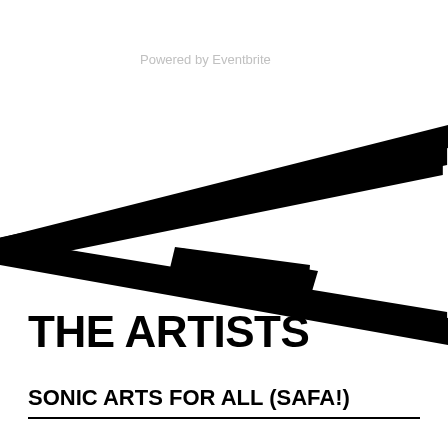Powered by Eventbrite
[Figure (illustration): Abstract geometric design with overlapping black diagonal stripes forming a scissors or arrow-like shape on white background]
THE ARTISTS
SONIC ARTS FOR ALL (SAFA!)